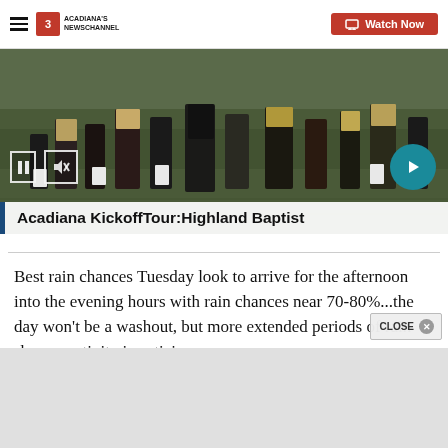Acadiana's Newschannel — Watch Now
[Figure (screenshot): Video player showing football players running on a field with overlay caption 'Acadiana KickoffTour:Highland Baptist'. Video controls include pause button, mute button, and next arrow button.]
Acadiana KickoffTour:Highland Baptist
Best rain chances Tuesday look to arrive for the afternoon into the evening hours with rain chances near 70-80%...the day won't be a washout, but more extended periods of rain shower activity is anticipa